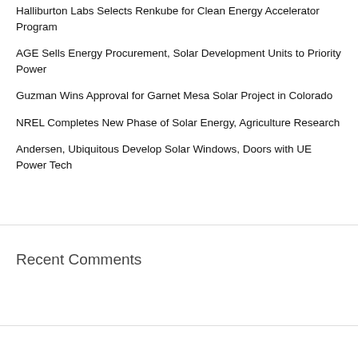Halliburton Labs Selects Renkube for Clean Energy Accelerator Program
AGE Sells Energy Procurement, Solar Development Units to Priority Power
Guzman Wins Approval for Garnet Mesa Solar Project in Colorado
NREL Completes New Phase of Solar Energy, Agriculture Research
Andersen, Ubiquitous Develop Solar Windows, Doors with UE Power Tech
Recent Comments